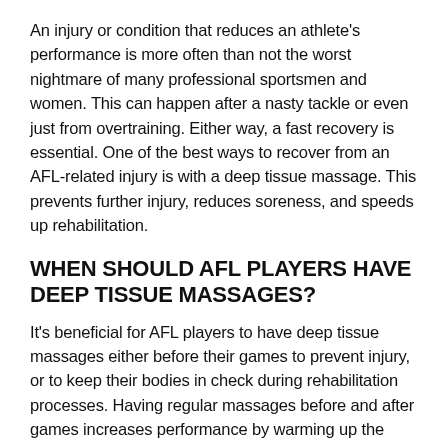An injury or condition that reduces an athlete's performance is more often than not the worst nightmare of many professional sportsmen and women. This can happen after a nasty tackle or even just from overtraining. Either way, a fast recovery is essential. One of the best ways to recover from an AFL-related injury is with a deep tissue massage. This prevents further injury, reduces soreness, and speeds up rehabilitation.
WHEN SHOULD AFL PLAYERS HAVE DEEP TISSUE MASSAGES?
It's beneficial for AFL players to have deep tissue massages either before their games to prevent injury, or to keep their bodies in check during rehabilitation processes. Having regular massages before and after games increases performance by warming up the muscles, as well as helping the body to wind down after physical exertion.